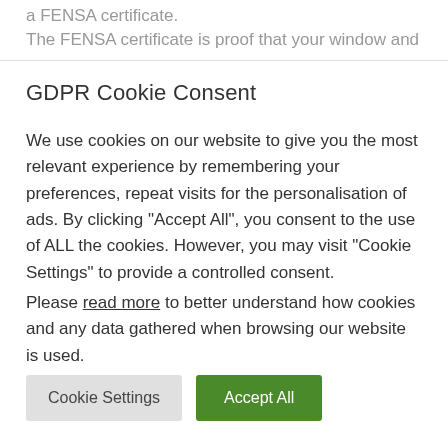a FENSA certificate.
The FENSA certificate is proof that your window and
GDPR Cookie Consent
We use cookies on our website to give you the most relevant experience by remembering your preferences, repeat visits for the personalisation of ads. By clicking “Accept All”, you consent to the use of ALL the cookies. However, you may visit “Cookie Settings” to provide a controlled consent.
Please read more to better understand how cookies and any data gathered when browsing our website is used.
Cookie Settings | Accept All